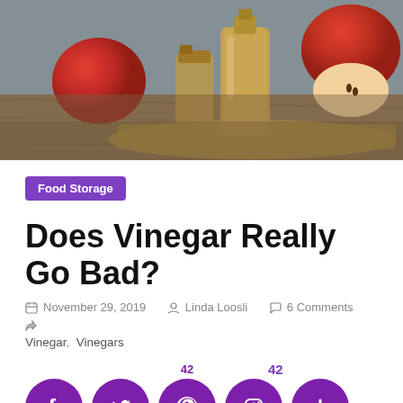[Figure (photo): Photo of apple cider vinegar bottle with apples on a wooden table with burlap]
Food Storage
Does Vinegar Really Go Bad?
November 29, 2019   Linda Loosli   6 Comments
Vinegar, Vinegars
42
[Figure (infographic): Social share buttons: Facebook, Twitter, Pinterest, Instagram, More (plus icon) — all purple circles]